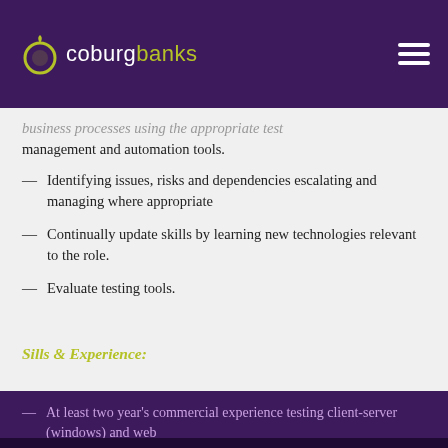Coburg Banks
business processes using the appropriate test management and automation tools.
Identifying issues, risks and dependencies escalating and managing where appropriate
Continually update skills by learning new technologies relevant to the role.
Evaluate testing tools.
Sills & Experience:
At least two year's commercial experience testing client-server (windows) and web environments.
Practical and systematic approach to
By clicking "Accept All Cookies", you agree to the storing of cookies on your device to enhance site navigation, analyze site usage, and assist in our marketing efforts.